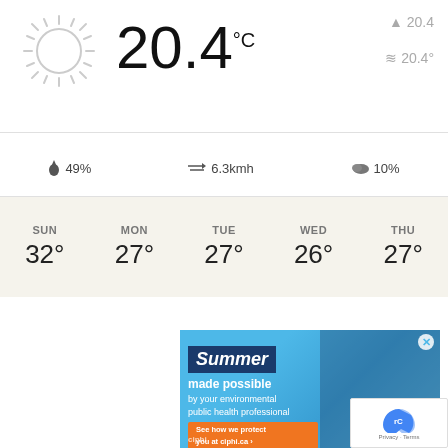[Figure (screenshot): Weather app screenshot showing current temperature 20.4°C with sun icon, high 20.4 and low 20.4°, humidity 49%, wind 6.3kmh, cloud cover 10%, and 5-day forecast: SUN 32°, MON 27°, TUE 27°, WED 26°, THU 27°]
[Figure (photo): Advertisement banner for ciphi.ca showing underwater photo of a person giving thumbs up, with text: Summer made possible by your environmental public health professional. See how we protect you at ciphi.ca]